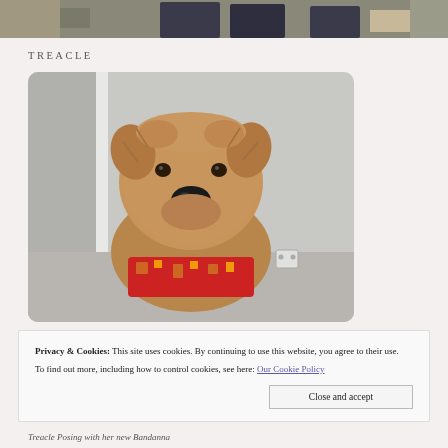[Figure (photo): Cropped photo at top showing people in formal clothing, partially visible]
TREACLE
[Figure (photo): Close-up photo of a fluffy brown terrier dog (Treacle) wearing a red bandanna, looking directly at the camera, indoors near white wall]
Privacy & Cookies: This site uses cookies. By continuing to use this website, you agree to their use.
To find out more, including how to control cookies, see here: Our Cookie Policy
Treacle Posing with her new Bandanna